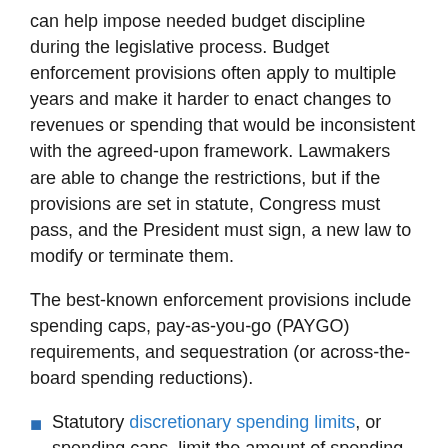can help impose needed budget discipline during the legislative process. Budget enforcement provisions often apply to multiple years and make it harder to enact changes to revenues or spending that would be inconsistent with the agreed-upon framework. Lawmakers are able to change the restrictions, but if the provisions are set in statute, Congress must pass, and the President must sign, a new law to modify or terminate them.
The best-known enforcement provisions include spending caps, pay-as-you-go (PAYGO) requirements, and sequestration (or across-the-board spending reductions).
Statutory discretionary spending limits, or spending caps, limit the amount of spending allowed each year the caps are in effect. For example, spending caps are currently in effect through 2021 for annually appropriated, or discretionary, spending. The caps